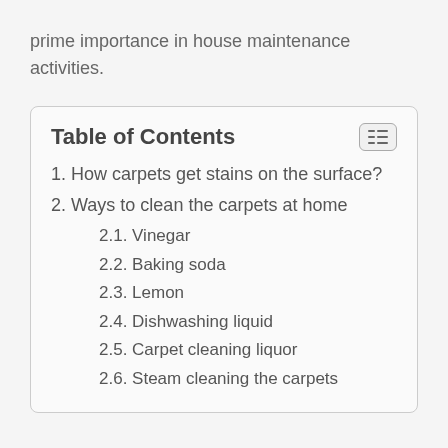prime importance in house maintenance activities.
Table of Contents
1. How carpets get stains on the surface?
2. Ways to clean the carpets at home
2.1. Vinegar
2.2. Baking soda
2.3. Lemon
2.4. Dishwashing liquid
2.5. Carpet cleaning liquor
2.6. Steam cleaning the carpets